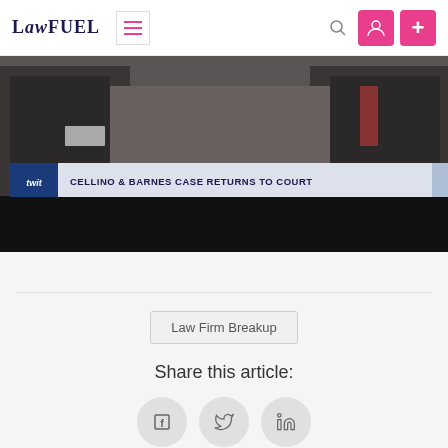LawFuel
[Figure (screenshot): Courtroom scene video still with news banner overlay reading 'CELLINO & BARNES CASE RETURNS TO COURT' with a TV news lower-third graphic]
Law Firm Breakup
Share this article:
[Figure (other): Social share buttons: Facebook, Twitter, LinkedIn]